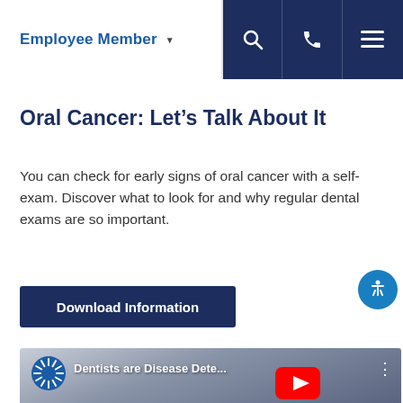Employee Member
Oral Cancer: Let’s Talk About It
You can check for early signs of oral cancer with a self-exam. Discover what to look for and why regular dental exams are so important.
Download Information
[Figure (screenshot): YouTube video thumbnail showing 'Dentists are Disease Dete...' with a hand writing on a document, YouTube play button overlay, and a blue starburst logo on the left.]